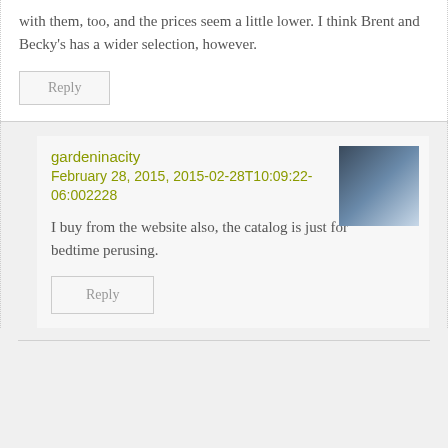with them, too, and the prices seem a little lower. I think Brent and Becky's has a wider selection, however.
Reply
gardeninacity
February 28, 2015, 2015-02-28T10:09:22-06:002228
[Figure (photo): Avatar photo of gardening person]
I buy from the website also, the catalog is just for bedtime perusing.
Reply